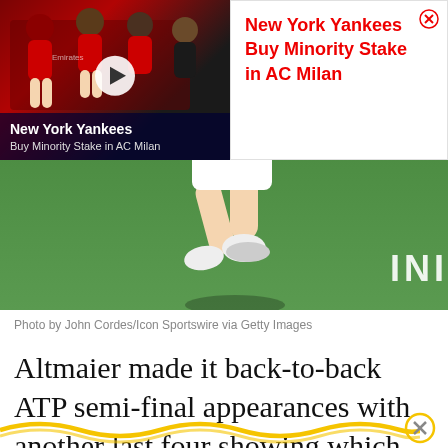[Figure (screenshot): Video thumbnail of AC Milan soccer players in red and black uniforms with a play button overlay, and title 'New York Yankees / Buy Minority Stake in AC Milan']
[Figure (photo): Advertisement box with red text reading 'New York Yankees Buy Minority Stake in AC Milan' with a close (X) button, on white background]
[Figure (photo): Tennis player's legs mid-stride on a green hard court surface with partial 'INI' sponsor logo visible at lower right]
Photo by John Cordes/Icon Sportswire via Getty Images
Altmaier made it back-to-back ATP semi-final appearances with another last four showing which this time came in Kitzbuhel, Austria